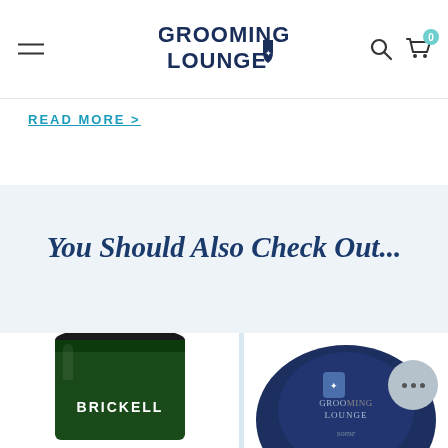Grooming Lounge
READ MORE >
You Should Also Check Out...
[Figure (photo): Brickell branded dark green jar of grooming product, partially visible from the bottom of the page]
[Figure (photo): Grooming Lounge branded circular tin/container partially visible on the right side of the page, with a chat support bubble overlay]